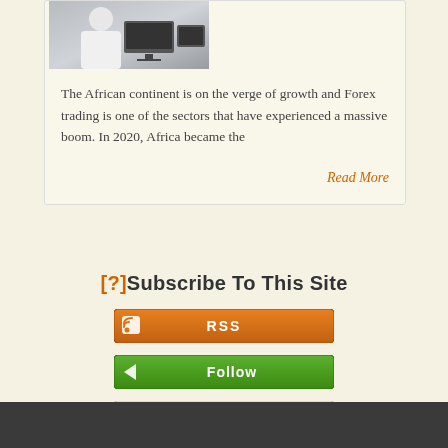[Figure (photo): Photo of a person at a trading desk with monitors]
The African continent is on the verge of growth and Forex trading is one of the sectors that have experienced a massive boom. In 2020, Africa became the
Read More
[?]Subscribe To This Site
[Figure (other): RSS subscription button (orange)]
[Figure (other): Follow button (green)]
[Figure (other): Add to My Yahoo! button]